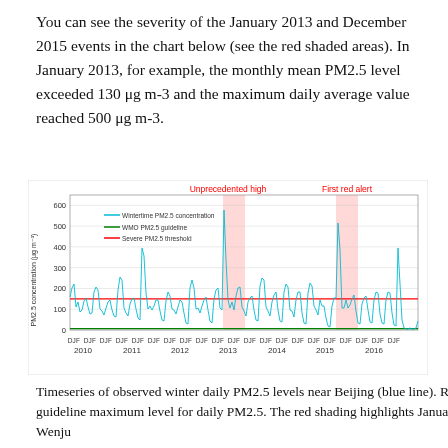You can see the severity of the January 2013 and December 2015 events in the chart below (see the red shaded areas). In January 2013, for example, the monthly mean PM2.5 level exceeded 130 μg m-3 and the maximum daily average value reached 500 μg m-3.
[Figure (line-chart): Line chart showing wintertime PM2.5 concentration (blue line), WMO PM2.5 guideline (green line), and Severe PM2.5 threshold (red line). Two red-shaded areas highlight January 2013 (Unprecedented high) and December 2015 (First red alert).]
Timeseries of observed winter daily PM2.5 levels near Beijing (blue line). Red line shows the "severe" haze threshold, and green line shows the WHO guideline maximum level for daily PM2.5. The red shading highlights January 2013 and December 2015 when many severe haze events occurred. Credit: Wenju